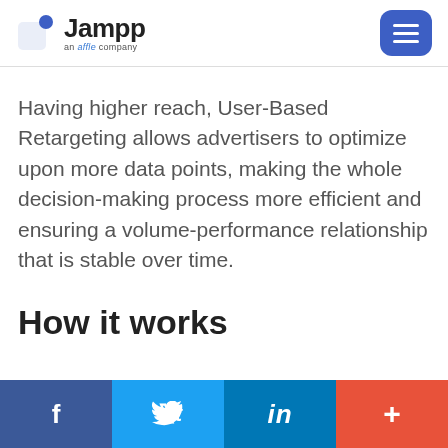Jampp — an affle company
Having higher reach, User-Based Retargeting allows advertisers to optimize upon more data points, making the whole decision-making process more efficient and ensuring a volume-performance relationship that is stable over time.
How it works
Facebook  Twitter  LinkedIn  +